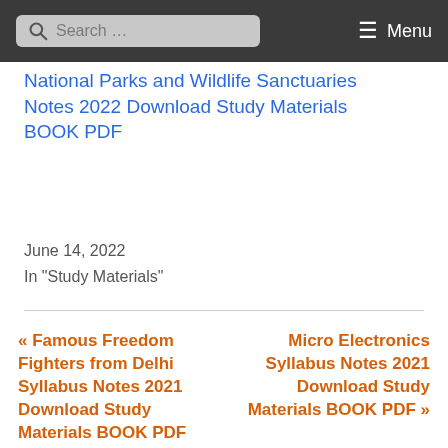Search ... Menu
National Parks and Wildlife Sanctuaries Notes 2022 Download Study Materials BOOK PDF
June 14, 2022
In "Study Materials"
« Famous Freedom Fighters from Delhi Syllabus Notes 2021 Download Study Materials BOOK PDF
Micro Electronics Syllabus Notes 2021 Download Study Materials BOOK PDF »